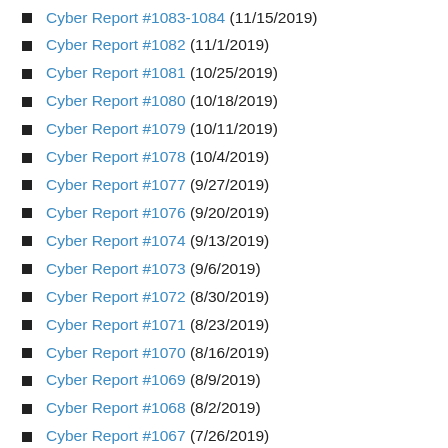Cyber Report #1083-1084 (11/15/2019)
Cyber Report #1082 (11/1/2019)
Cyber Report #1081 (10/25/2019)
Cyber Report #1080 (10/18/2019)
Cyber Report #1079 (10/11/2019)
Cyber Report #1078 (10/4/2019)
Cyber Report #1077 (9/27/2019)
Cyber Report #1076 (9/20/2019)
Cyber Report #1074 (9/13/2019)
Cyber Report #1073 (9/6/2019)
Cyber Report #1072 (8/30/2019)
Cyber Report #1071 (8/23/2019)
Cyber Report #1070 (8/16/2019)
Cyber Report #1069 (8/9/2019)
Cyber Report #1068 (8/2/2019)
Cyber Report #1067 (7/26/2019)